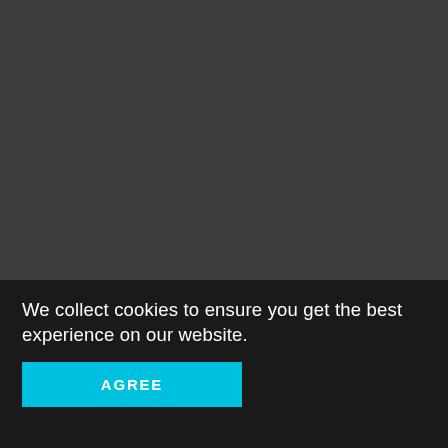[Figure (screenshot): Dark gray background area filling the upper portion of the page, representing a website or app interface background.]
We collect cookies to ensure you get the best experience on our website.
AGREE